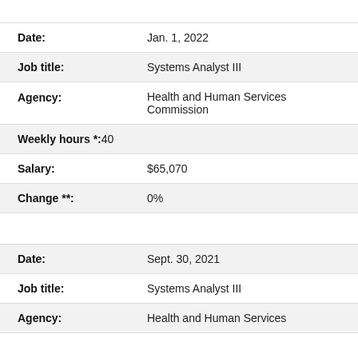| Field | Value |
| --- | --- |
| Date: | Jan. 1, 2022 |
| Job title: | Systems Analyst III |
| Agency: | Health and Human Services Commission |
| Weekly hours *: | 40 |
| Salary: | $65,070 |
| Change **: | 0% |
| Field | Value |
| --- | --- |
| Date: | Sept. 30, 2021 |
| Job title: | Systems Analyst III |
| Agency: | Health and Human Services |